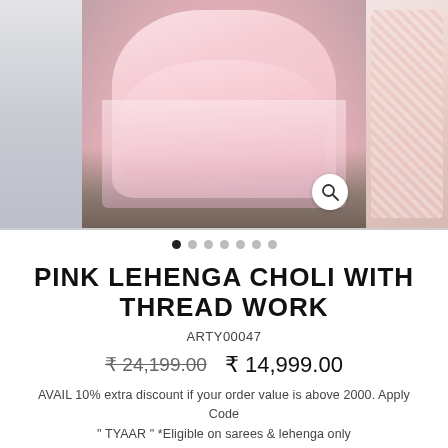[Figure (photo): Product photo carousel showing a pink lehenga choli with thread work, displayed against rocky outdoor background. Left thumbnail shows a faint map/landscape. Right thumbnail shows detail of embroidered fabric. A search/zoom icon appears bottom-right of main image.]
● ○ ○ ○ ○ ○ ○ (image carousel dots)
PINK LEHENGA CHOLI WITH THREAD WORK
ARTY00047
₹ 24,199.00   ₹ 14,999.00
AVAIL 10% extra discount if your order value is above 2000. Apply Code " TYAAR " *Eligible on sarees & lehenga only https://tyaarindia.com/pages/shipping-policy